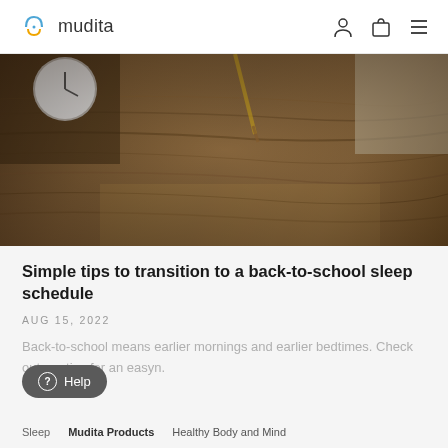mudita
[Figure (photo): Close-up photo of a wooden desk surface with a white analog clock in the upper left, a pencil leaning on an object in the upper center, and a beige/cream object (likely a bag or cushion) in the upper right. The wood grain of the desk is prominent.]
Simple tips to transition to a back-to-school sleep schedule
AUG 15, 2022
Back-to-school means earlier mornings and earlier bedtimes. Check out our tips for an easy transition.
Sleep   Mudita Products   Healthy Body and Mind